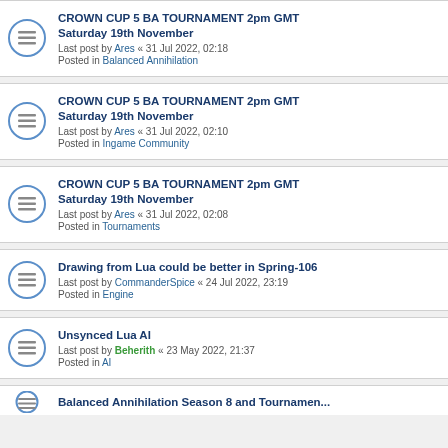CROWN CUP 5 BA TOURNAMENT 2pm GMT Saturday 19th November
Last post by Ares « 31 Jul 2022, 02:18
Posted in Balanced Annihilation
CROWN CUP 5 BA TOURNAMENT 2pm GMT Saturday 19th November
Last post by Ares « 31 Jul 2022, 02:10
Posted in Ingame Community
CROWN CUP 5 BA TOURNAMENT 2pm GMT Saturday 19th November
Last post by Ares « 31 Jul 2022, 02:08
Posted in Tournaments
Drawing from Lua could be better in Spring-106
Last post by CommanderSpice « 24 Jul 2022, 23:19
Posted in Engine
Unsynced Lua AI
Last post by Beherith « 23 May 2022, 21:37
Posted in AI
Balanced Annihilation Season 8 and Tournament...